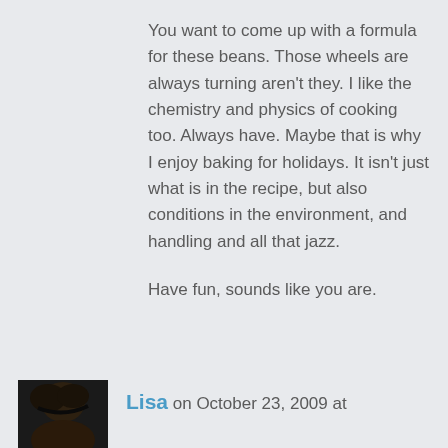You want to come up with a formula for these beans. Those wheels are always turning aren't they. I like the chemistry and physics of cooking too. Always have. Maybe that is why I enjoy baking for holidays. It isn't just what is in the recipe, but also conditions in the environment, and handling and all that jazz.
Have fun, sounds like you are.
[Figure (photo): Small square avatar photo of a person, dark toned image showing head/hair]
Lisa on October 23, 2009 at